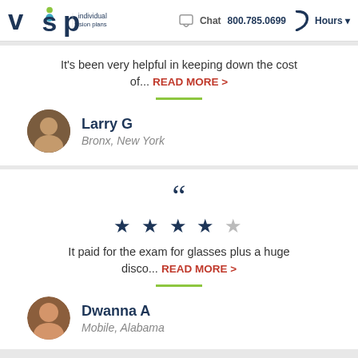VSP Individual Vision Plans — Chat 800.785.0699 Hours
It's been very helpful in keeping down the cost of... READ MORE >
Larry G — Bronx, New York
" (quote mark) ★★★★☆ It paid for the exam for glasses plus a huge disco... READ MORE >
Dwanna A — Mobile, Alabama